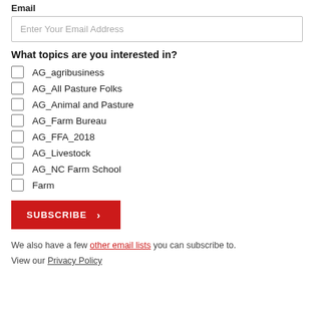Email
Enter Your Email Address
What topics are you interested in?
AG_agribusiness
AG_All Pasture Folks
AG_Animal and Pasture
AG_Farm Bureau
AG_FFA_2018
AG_Livestock
AG_NC Farm School
Farm
SUBSCRIBE
We also have a few other email lists you can subscribe to.
View our Privacy Policy